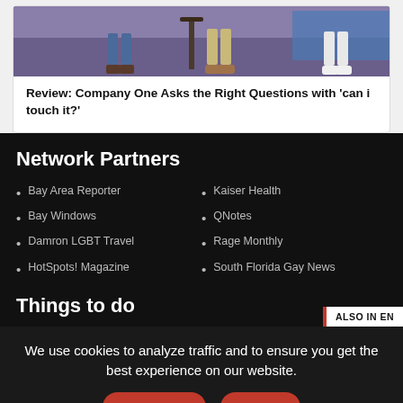[Figure (photo): Bottom halves of people standing on a stage with purple/blue lighting, showing legs and shoes.]
Review: Company One Asks the Right Questions with 'can i touch it?'
Network Partners
Bay Area Reporter
Bay Windows
Damron LGBT Travel
HotSpots! Magazine
Kaiser Health
QNotes
Rage Monthly
South Florida Gay News
Things to do
ALSO IN EN
We use cookies to analyze traffic and to ensure you get the best experience on our website.
MORE INFO
GOT IT!